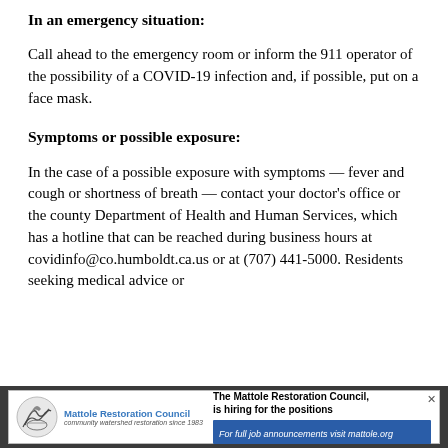In an emergency situation:
Call ahead to the emergency room or inform the 911 operator of the possibility of a COVID-19 infection and, if possible, put on a face mask.
Symptoms or possible exposure:
In the case of a possible exposure with symptoms — fever and cough or shortness of breath — contact your doctor's office or the county Department of Health and Human Services, which has a hotline that can be reached during business hours at covidinfo@co.humboldt.ca.us or at (707) 441-5000. Residents seeking medical advice or
[Figure (infographic): Advertisement banner for Mattole Restoration Council showing logo, organization name, and hiring announcement with blue bar linking to mattole.org]